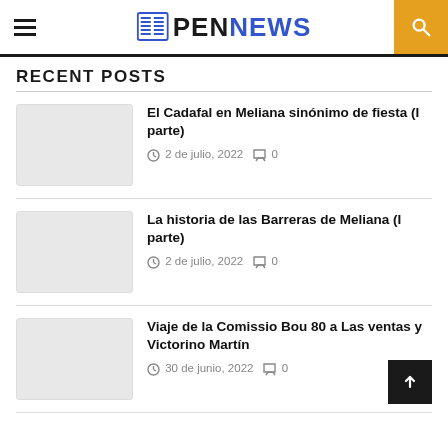PENNEWS
RECENT POSTS
El Cadafal en Meliana sinónimo de fiesta (I parte) — 2 de julio, 2022 — 0 comments
La historia de las Barreras de Meliana (I parte) — 2 de julio, 2022 — 0 comments
Viaje de la Comissio Bou 80 a Las ventas y Victorino Martín — 30 de junio, 2022 — 0 comments